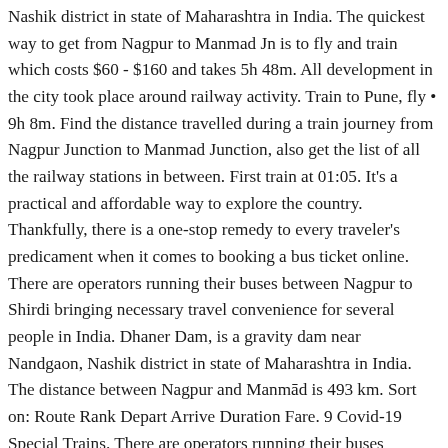Nashik district in state of Maharashtra in India. The quickest way to get from Nagpur to Manmad Jn is to fly and train which costs $60 - $160 and takes 5h 48m. All development in the city took place around railway activity. Train to Pune, fly • 9h 8m. Find the distance travelled during a train journey from Nagpur Junction to Manmad Junction, also get the list of all the railway stations in between. First train at 01:05. It's a practical and affordable way to explore the country. Thankfully, there is a one-stop remedy to every traveler's predicament when it comes to booking a bus ticket online. There are operators running their buses between Nagpur to Shirdi bringing necessary travel convenience for several people in India. Dhaner Dam, is a gravity dam near Nandgaon, Nashik district in state of Maharashtra in India. The distance between Nagpur and Manmād is 493 km. Sort on: Route Rank Depart Arrive Duration Fare. 9 Covid-19 Special Trains. There are operators running their buses between Nagpur to Aurangabad bringing necessary travel convenience for